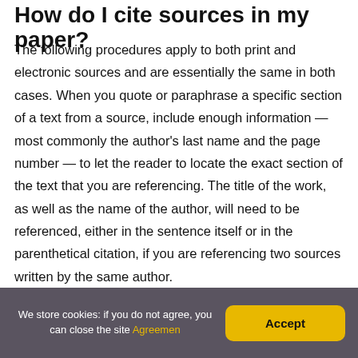How do I cite sources in my paper?
The following procedures apply to both print and electronic sources and are essentially the same in both cases. When you quote or paraphrase a specific section of a text from a source, include enough information — most commonly the author's last name and the page number — to let the reader to locate the exact section of the text that you are referencing. The title of the work, as well as the name of the author, will need to be referenced, either in the sentence itself or in the parenthetical citation, if you are referencing two sources written by the same author.
We store cookies: if you do not agree, you can close the site Agreemen Accept